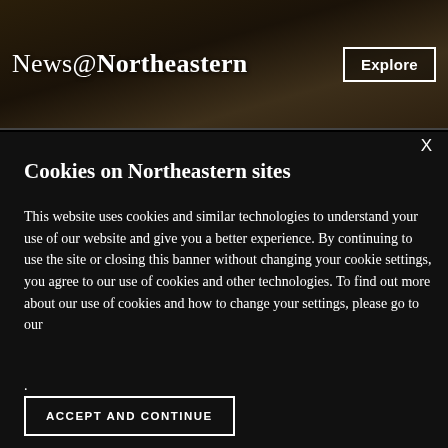News@Northeastern
Cookies on Northeastern sites
This website uses cookies and similar technologies to understand your use of our website and give you a better experience. By continuing to use the site or closing this banner without changing your cookie settings, you agree to our use of cookies and other technologies. To find out more about our use of cookies and how to change your settings, please go to our .